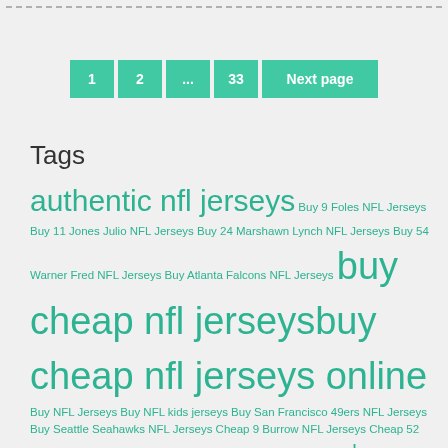1  2  ...  33  Next page
Tags
authentic nfl jerseys Buy 9 Foles NFL Jerseys Buy 11 Jones Julio NFL Jerseys Buy 24 Marshawn Lynch NFL Jerseys Buy 54 Warner Fred NFL Jerseys Buy Atlanta Falcons NFL Jerseys buy cheap nfl jerseys buy cheap nfl jerseys online Buy NFL Jerseys Buy NFL kids jerseys Buy San Francisco 49ers NFL Jerseys Buy Seattle Seahawks NFL Jerseys Cheap 9 Burrow NFL Jerseys Cheap 52 Mack Khalil NFL Jerseys Cheap Chicago Bears NFL Jerseys cheap new nike nfl jerseys cheap nfl jerseys cheap nfl jerseys china cheap nfl jerseys china nike cheap nfl wholesale jerseys cheap nike nfl